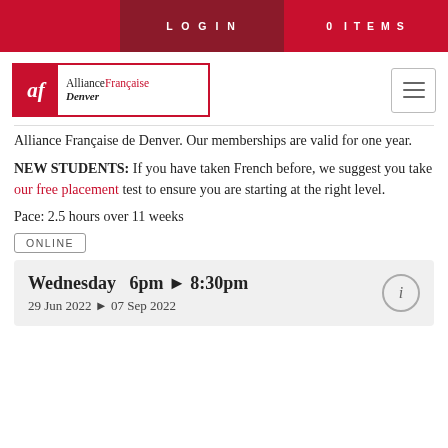LOGIN   0 ITEMS
[Figure (logo): Alliance Française Denver logo with red AF emblem and text]
Alliance Française de Denver. Our memberships are valid for one year.
NEW STUDENTS: If you have taken French before, we suggest you take our free placement test to ensure you are starting at the right level.
Pace: 2.5 hours over 11 weeks
ONLINE
Wednesday   6pm ▶ 8:30pm
29 Jun 2022 ▶ 07 Sep 2022